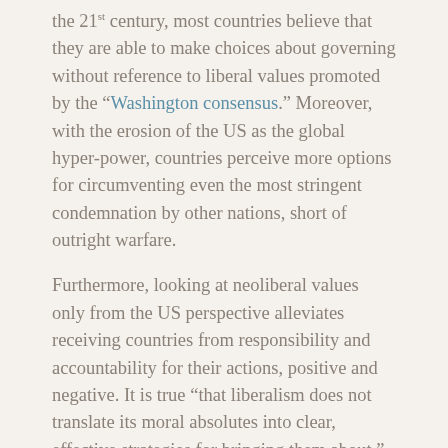the 21st century, most countries believe that they are able to make choices about governing without reference to liberal values promoted by the “Washington consensus.” Moreover, with the erosion of the US as the global hyper-power, countries perceive more options for circumventing even the most stringent condemnation by other nations, short of outright warfare.

Furthermore, looking at neoliberal values only from the US perspective alleviates receiving countries from responsibility and accountability for their actions, positive and negative. It is true “that liberalism does not translate its moral absolutes into clear, effective strategies for bringing them about.” It is as guilty of this charge as any political ideology that posits “truths” and not tactics. And besides, there is the nagging reality that one size does not fit all